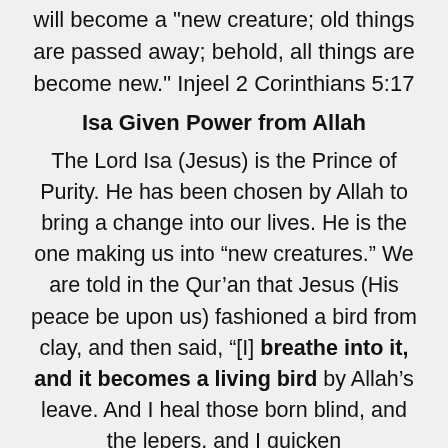will become a "new creature; old things are passed away; behold, all things are become new." Injeel 2 Corinthians 5:17
Isa Given Power from Allah
The Lord Isa (Jesus) is the Prince of Purity. He has been chosen by Allah to bring a change into our lives. He is the one making us into “new creatures.” We are told in the Qur’an that Jesus (His peace be upon us) fashioned a bird from clay, and then said, “[I] breathe into it, and it becomes a living bird by Allah’s leave. And I heal those born blind, and the lepers, and I quicken the dead.” Surah 3:49, Al-Fatwa